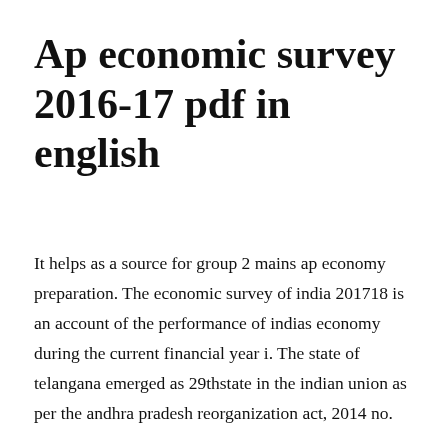Ap economic survey 2016-17 pdf in english
It helps as a source for group 2 mains ap economy preparation. The economic survey of india 201718 is an account of the performance of indias economy during the current financial year i. The state of telangana emerged as 29thstate in the indian union as per the andhra pradesh reorganization act, 2014 no.